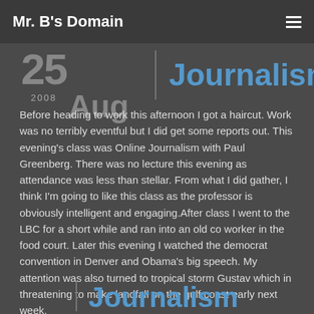Mr. B's Domain
25 Aug 2008 | Journalism
Before heading to work this afternoon I got a haircut. Work was no terribly eventful but I did get some reports out. This evening's class was Online Journalism with Paul Greenberg. There was no lecture this evening as attendance was less than stellar. From what I did gather, I think I'm going to like this class as the professor is obviously intelligent and engaging.After class I went to the LBC for a short while and ran into an old co worker in the food court. Later this evening I watched the democrat convention in Denver and Obama's big speech. My attention was also turned to tropical storm Gustav which in threatening to make landfall on the gulf coast early next week.
Comments Off